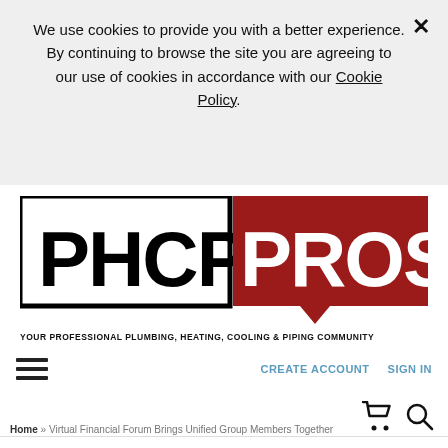We use cookies to provide you with a better experience. By continuing to browse the site you are agreeing to our use of cookies in accordance with our Cookie Policy.
[Figure (logo): PHCP Pros logo — 'PHCP' in bold black letters on white background with black border, 'PROS' in bold white letters on dark red background with speech-bubble shape. Tagline: YOUR PROFESSIONAL PLUMBING, HEATING, COOLING & PIPING COMMUNITY]
CREATE ACCOUNT   SIGN IN
Home » Virtual Financial Forum Brings Unified Group Members Together